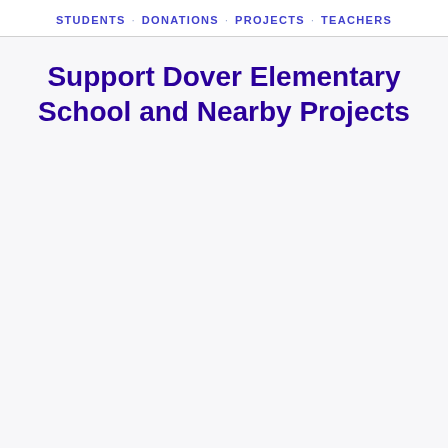STUDENTS · DONATIONS · PROJECTS · TEACHERS
Support Dover Elementary School and Nearby Projects